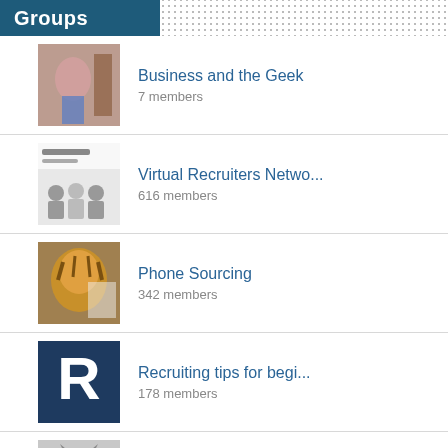Groups
Business and the Geek
7 members
Virtual Recruiters Netwo...
616 members
Phone Sourcing
342 members
Recruiting tips for begi...
178 members
Independent Recruiters
528 members
California Recruiters
181 members
Recruiters Looking For S...
792 members
Seattle Recruiters